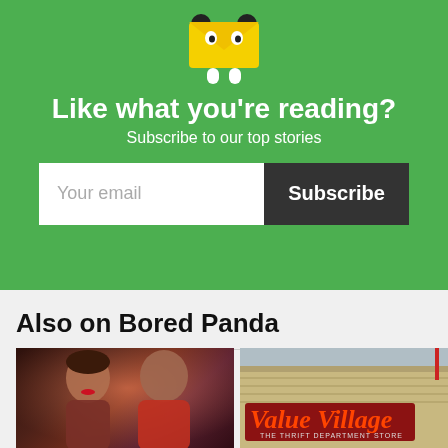[Figure (illustration): Green newsletter signup banner with cartoon email mascot character (yellow envelope with eyes and legs). Contains headline 'Like what you're reading?', subheadline 'Subscribe to our top stories', an email input field labeled 'Your email', and a dark 'Subscribe' button.]
Like what you're reading?
Subscribe to our top stories
Also on Bored Panda
[Figure (photo): Photo of a smiling couple, woman with red lips and man in red jacket, at what appears to be a party or event setting.]
[Figure (photo): Photo of a Value Village thrift department store exterior building with red logo sign reading 'Value Village The Thrift Department Store'.]